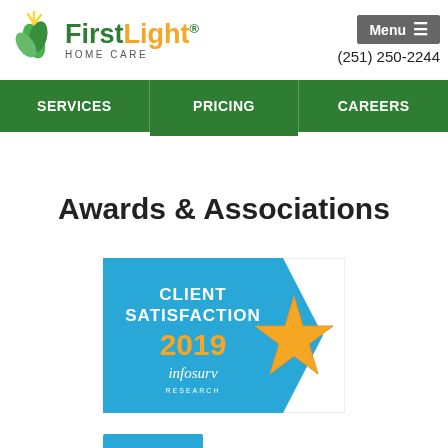FirstLight Home Care — (251) 250-2244 — Menu
SERVICES | PRICING | CAREERS
Awards & Associations
[Figure (logo): Client Satisfaction 2019 infosurv Research badge — blue ribbon banner with gold star on white background]